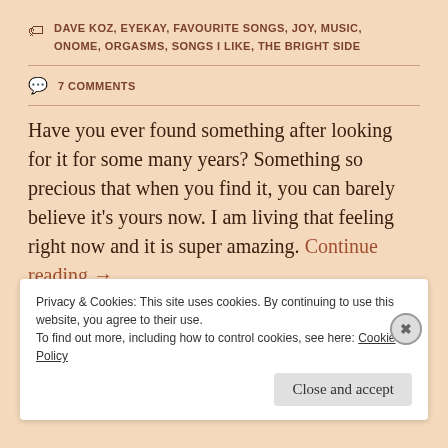DAVE KOZ, EYEKAY, FAVOURITE SONGS, JOY, MUSIC, ONOME, ORGASMS, SONGS I LIKE, THE BRIGHT SIDE
7 COMMENTS
Have you ever found something after looking for it for some many years? Something so precious that when you find it, you can barely believe it's yours now. I am living that feeling right now and it is super amazing. Continue reading →
Privacy & Cookies: This site uses cookies. By continuing to use this website, you agree to their use. To find out more, including how to control cookies, see here: Cookie Policy
Close and accept